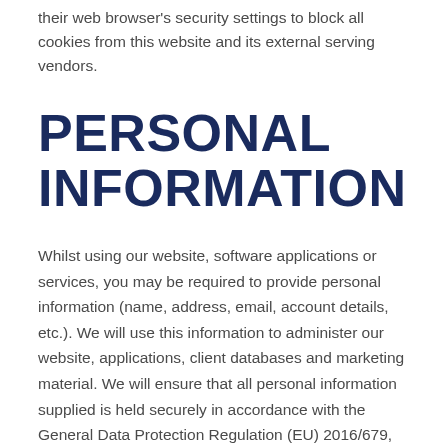their web browser's security settings to block all cookies from this website and its external serving vendors.
PERSONAL INFORMATION
Whilst using our website, software applications or services, you may be required to provide personal information (name, address, email, account details, etc.). We will use this information to administer our website, applications, client databases and marketing material. We will ensure that all personal information supplied is held securely in accordance with the General Data Protection Regulation (EU) 2016/679, as adopted into law of the United Kingdom in the Data Protection Act 2018. Further, by providing telephone, fax and email details, you